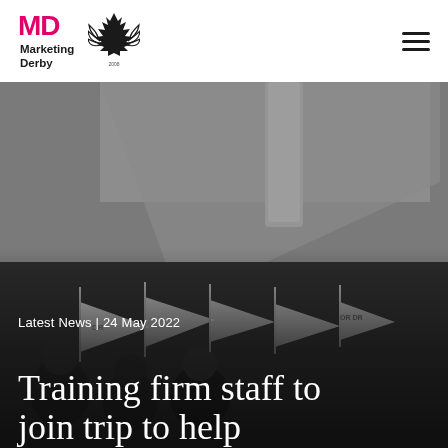MD Marketing Derby [logo with Queens Award emblem] [hamburger menu]
[Figure (photo): Dark photo showing people waving black and white flags/scarves at what appears to be a sports event, with a concrete structure visible above]
Latest News | 24 May 2022
Training firm staff to join trip to help